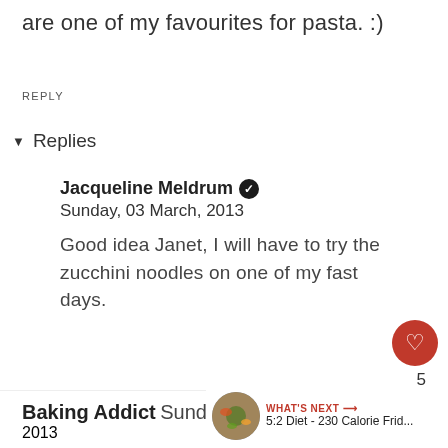are one of my favourites for pasta. :)
REPLY
▾ Replies
Jacqueline Meldrum ✔
Sunday, 03 March, 2013
Good idea Janet, I will have to try the zucchini noodles on one of my fast days.
Reply
Baking Addict Sunday, 03 ... 2013
WHAT'S NEXT → 5:2 Diet - 230 Calorie Frid...